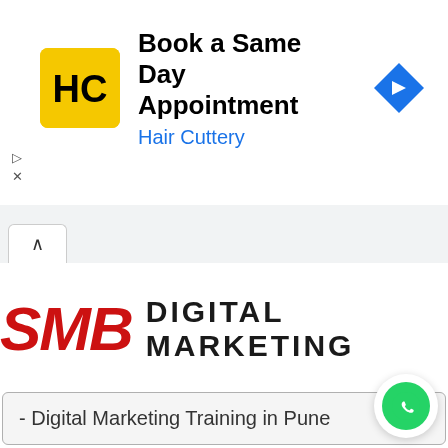[Figure (screenshot): Hair Cuttery ad banner with yellow HC logo, 'Book a Same Day Appointment' heading in black, 'Hair Cuttery' subtext in blue, and a blue diamond navigation icon on the right]
Book a Same Day Appointment
Hair Cuttery
[Figure (logo): SMB Digital Marketing logo — SMB in large bold red italic letters followed by DIGITAL MARKETING in large bold dark uppercase letters]
- Digital Marketing Training in Pune